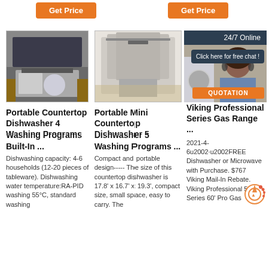[Figure (other): Orange Get Price button (left)]
[Figure (other): Orange Get Price button (center)]
[Figure (photo): Portable countertop dishwasher in a kitchen setting]
Portable Countertop Dishwasher 4 Washing Programs Built-In ...
Dishwashing capacity: 4-6 households (12-20 pieces of tableware). Dishwashing water temperature:RA-PID washing 55°C, standard washing
[Figure (photo): Silver portable mini countertop dishwasher on kitchen floor]
Portable Mini Countertop Dishwasher 5 Washing Programs ...
Compact and portable design----- The size of this countertop dishwasher is 17.8' x 16.7' x 19.3', compact size, small space, easy to carry. The
[Figure (photo): Washing machine and customer service representative with headset overlay, 24/7 Online chat widget]
Viking Professional Series Gas Range ...
2021-4-6u2002·u2002FREE Dishwasher or Microwave with Purchase. $767 Viking Mail-In Rebate. Viking Professional 5 Series 60' Pro Gas